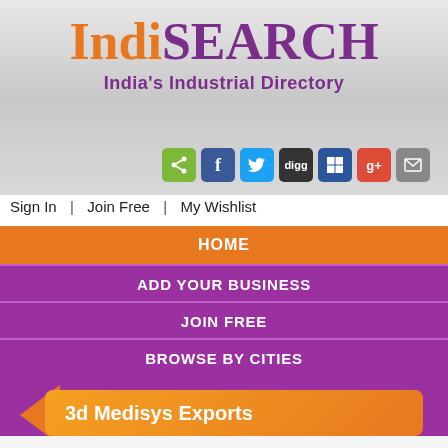[Figure (logo): IndiSEARCH logo - 'Indi' in orange serif font, 'SEARCH' in purple serif font, tagline 'India's Industrial Directory' in purple below]
[Figure (infographic): Row of 7 social sharing icons: share (green), Facebook (blue), Twitter (light blue), Digg (dark), Windows (blue), Google+ (red), Email (grey)]
Sign In  |  Join Free  |  My Wishlist
HOME
ADD YOUR BUSINESS
JOIN FREE
BROWSE BY CITIES
[Figure (infographic): Orange arrow banner on purple background with text 'Add your Business for FREE']
3d Medisys Exports